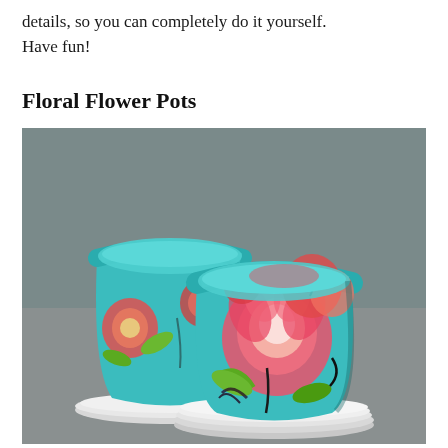details, so you can completely do it yourself. Have fun!
Floral Flower Pots
[Figure (photo): Two terracotta flower pots decorated with colorful floral fabric or decoupage in turquoise/teal background with pink, red, coral, and green flowers. The pots sit on white ceramic saucers on a gray surface. The foreground pot is smaller and tilted forward, while a larger pot is visible behind it.]